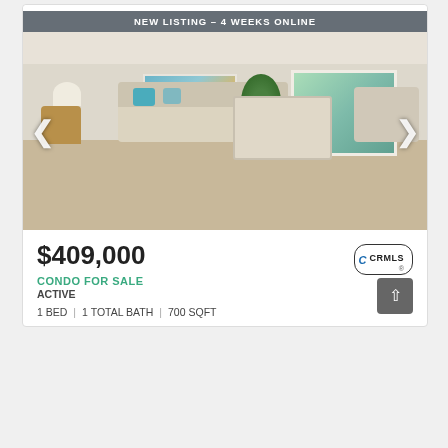[Figure (photo): Living room interior photo of a condo for sale, showing beige sofa with blue pillows, artwork on wall, large plant, coffee table, armchair, and windows with natural light. Badge reads: NEW LISTING – 4 WEEKS ONLINE]
$409,000
[Figure (logo): CRMLS logo — C in blue italic with CRMLS text in bold]
CONDO FOR SALE
ACTIVE
1 BED | 1 TOTAL BATH | 700 SQFT